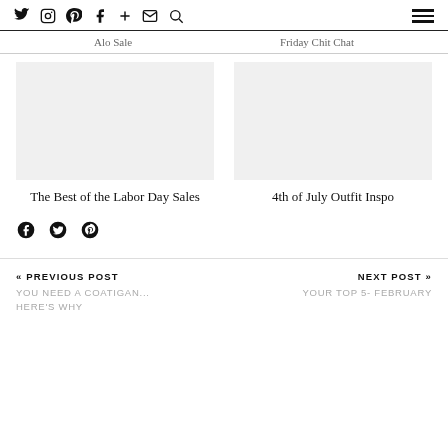Twitter Instagram Pinterest Facebook + Email Search [hamburger menu]
Alo Sale   Friday Chit Chat
[Figure (illustration): Blank image placeholder for The Best of the Labor Day Sales post]
The Best of the Labor Day Sales
[Figure (illustration): Blank image placeholder for 4th of July Outfit Inspo post]
4th of July Outfit Inspo
Facebook Twitter Pinterest social share icons
« PREVIOUS POST
YOU NEED A COATIGAN... HERE'S WHY
NEXT POST »
YOUR TOP 5- FEBRUARY